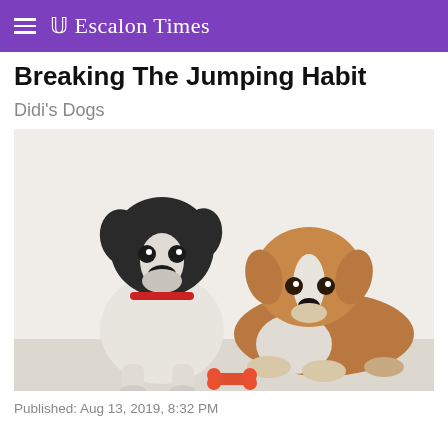Escalon Times
Breaking The Jumping Habit
Didi's Dogs
[Figure (photo): Two puppies side by side on a white background. On the left is a black and white Boston Terrier-type puppy sitting upright with a red collar. On the right is a brown and white mixed-breed puppy lying down with its paws forward. A red bone-shaped treat is between them on the floor.]
Published: Aug 13, 2019, 8:32 PM